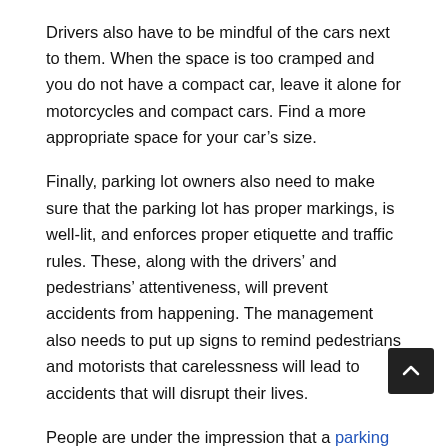Drivers also have to be mindful of the cars next to them. When the space is too cramped and you do not have a compact car, leave it alone for motorcycles and compact cars. Find a more appropriate space for your car's size.
Finally, parking lot owners also need to make sure that the parking lot has proper markings, is well-lit, and enforces proper etiquette and traffic rules. These, along with the drivers' and pedestrians' attentiveness, will prevent accidents from happening. The management also needs to put up signs to remind pedestrians and motorists that carelessness will lead to accidents that will disrupt their lives.
People are under the impression that a parking lot is a safe place but when people are irresponsible, anything can happen. It's always better to err on the side of caution. Be observant and act as if you're walking or driving on the road